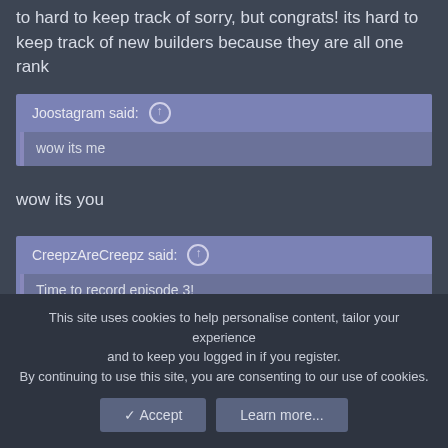to hard to keep track of sorry, but congrats! its hard to keep track of new builders because they are all one rank
Joostagram said: ↑
wow its me
wow its you
CreepzAreCreepz said: ↑
Time to record episode 3!
Have fun!
This site uses cookies to help personalise content, tailor your experience and to keep you logged in if you register. By continuing to use this site, you are consenting to our use of cookies.